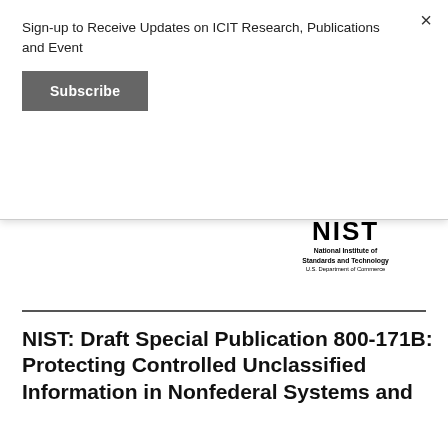Sign-up to Receive Updates on ICIT Research, Publications and Event
Subscribe
[Figure (screenshot): Partial view of a document page showing a blue-tinted text box with small text about responding to advanced persistent threat (APT) and supplementing basic and derived security requirements in NIST Special Publication 800-171 that provide foundational protection for CUI.]
[Figure (logo): NIST National Institute of Standards and Technology U.S. Department of Commerce logo]
NIST: Draft Special Publication 800-171B: Protecting Controlled Unclassified Information in Nonfederal Systems and